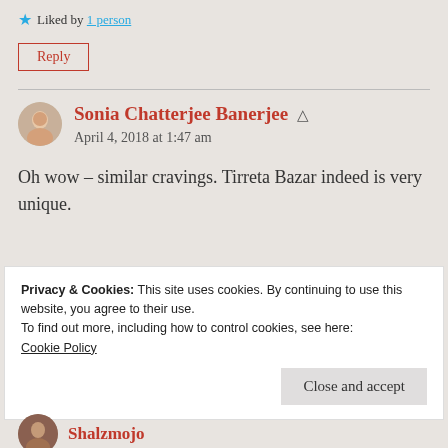★ Liked by 1 person
Reply
Sonia Chatterjee Banerjee
April 4, 2018 at 1:47 am
Oh wow – similar cravings. Tirreta Bazar indeed is very unique.
Privacy & Cookies: This site uses cookies. By continuing to use this website, you agree to their use.
To find out more, including how to control cookies, see here: Cookie Policy
Close and accept
Shalzmojo